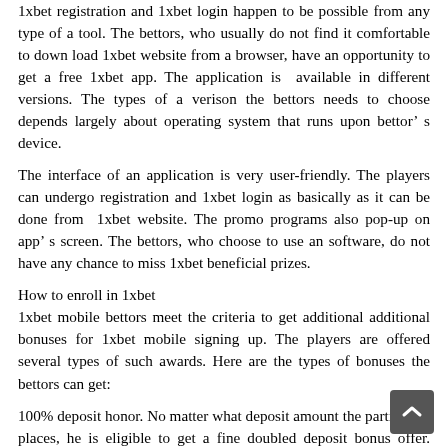1xbet registration and 1xbet login happen to be possible from any type of a tool. The bettors, who usually do not find it comfortable to down load 1xbet website from a browser, have an opportunity to get a free 1xbet app. The application is available in different versions. The types of a verison the bettors needs to choose depends largely about operating system that runs upon bettor's device.
The interface of an application is very user-friendly. The players can undergo registration and 1xbet login as basically as it can be done from 1xbet website. The promo programs also pop-up on app's screen. The bettors, who choose to use an software, do not have any chance to miss 1xbet beneficial prizes.
How to enroll in 1xbet
1xbet mobile bettors meet the criteria to get additional additional bonuses for 1xbet mobile signing up. The players are offered several types of such awards. Here are the types of bonuses the bettors can get:
100% deposit honor. No matter what deposit amount the participant places, he is eligible to get a fine doubled deposit bonus offer. 1xbet will multiply original sum of deposit by two.
Free bets. The bettors quite often are provided an opportunity to get free gambling bets. These types awards are beneficial for the bettors, who run away of money to add to a deposit. "" can place bets for a few hours and additionally place bility...